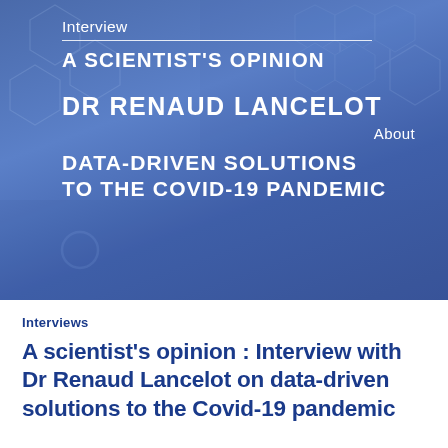[Figure (photo): A blue-tinted hero banner with a background photo of a person using a laptop and medical/data hexagon icons overlaid. White text overlay shows interview details about Dr Renaud Lancelot on data-driven solutions to the Covid-19 pandemic.]
Interviews
A scientist's opinion : Interview with Dr Renaud Lancelot on data-driven solutions to the Covid-19 pandemic